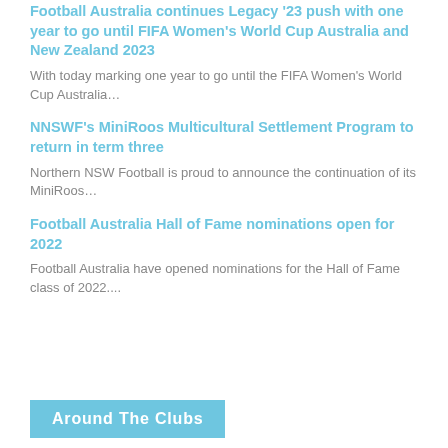Football Australia continues Legacy '23 push with one year to go until FIFA Women's World Cup Australia and New Zealand 2023
With today marking one year to go until the FIFA Women's World Cup Australia…
NNSWF's MiniRoos Multicultural Settlement Program to return in term three
Northern NSW Football is proud to announce the continuation of its MiniRoos…
Football Australia Hall of Fame nominations open for 2022
Football Australia have opened nominations for the Hall of Fame class of 2022....
Around The Clubs